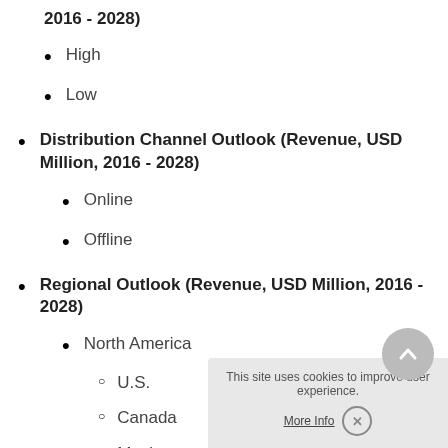2016 - 2028)
High
Low
Distribution Channel Outlook (Revenue, USD Million, 2016 - 2028)
Online
Offline
Regional Outlook (Revenue, USD Million, 2016 - 2028)
North America
U.S.
Canada
Mexico
Europe